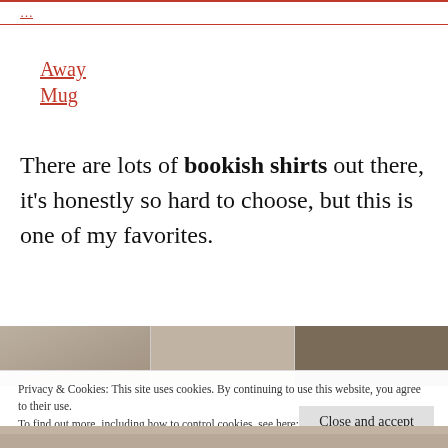Away Mug
There are lots of bookish shirts out there, it's honestly so hard to choose, but this is one of my favorites.
[Figure (photo): A photo strip showing a wooden surface with fabric/cloth items, split into three segments.]
Privacy & Cookies: This site uses cookies. By continuing to use this website, you agree to their use.
To find out more, including how to control cookies, see here: Cookie Policy
[Figure (photo): Bottom edge of a photo showing a wooden surface.]